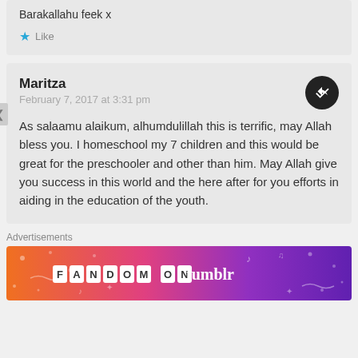Barakallahu feek x
Like
Maritza
February 7, 2017 at 3:31 pm
As salaamu alaikum, alhumdulillah this is terrific, may Allah bless you. I homeschool my 7 children and this would be great for the preschooler and other than him. May Allah give you success in this world and the here after for you efforts in aiding in the education of the youth.
Advertisements
[Figure (illustration): FANDOM ON tumblr advertisement banner with colorful orange to purple gradient background and decorative doodles]